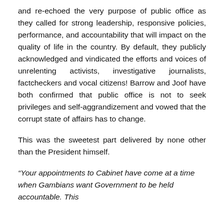and re-echoed the very purpose of public office as they called for strong leadership, responsive policies, performance, and accountability that will impact on the quality of life in the country. By default, they publicly acknowledged and vindicated the efforts and voices of unrelenting activists, investigative journalists, factcheckers and vocal citizens! Barrow and Joof have both confirmed that public office is not to seek privileges and self-aggrandizement and vowed that the corrupt state of affairs has to change.
This was the sweetest part delivered by none other than the President himself.
“Your appointments to Cabinet have come at a time when Gambians want Government to be held accountable. This